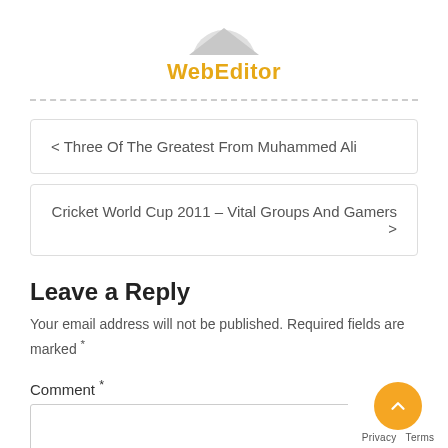[Figure (illustration): Partial avatar/profile image silhouette at top center of page]
WebEditor
< Three Of The Greatest From Muhammed Ali
Cricket World Cup 2011 – Vital Groups And Gamers >
Leave a Reply
Your email address will not be published. Required fields are marked *
Comment *